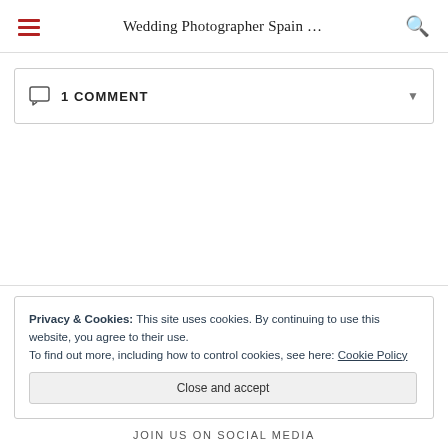Wedding Photographer Spain …
1 COMMENT
Privacy & Cookies: This site uses cookies. By continuing to use this website, you agree to their use.
To find out more, including how to control cookies, see here: Cookie Policy
Close and accept
JOIN US ON SOCIAL MEDIA